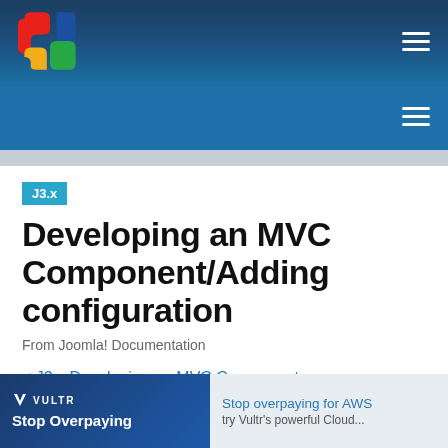Joomla! Documentation — navigation bar with Joomla logo and hamburger menu
Secondary navigation bar with hamburger menu
J3.x
Developing an MVC Component/Adding configuration
From Joomla! Documentation
< J3.x:Developing an MVC Component
[Figure (screenshot): Vultr advertisement banner: 'Stop Overpaying' on blue background with Vultr logo, and 'Stop overpaying for AWS try Vultr's powerful Cloud...' text on gray background]